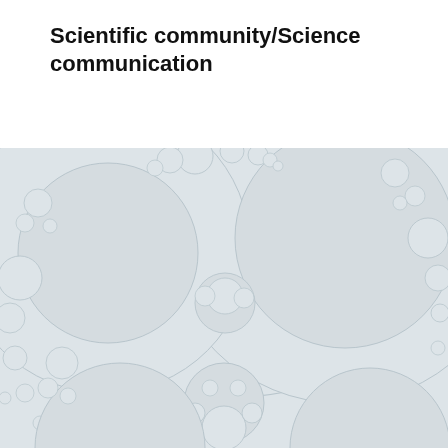Scientific community/Science communication
[Figure (illustration): A light gray Apollonian gasket-style diagram showing nested and tangent circles of various sizes arranged in a large circular formation, rendered in a very light gray color scheme with thin outlines on a light gray background.]